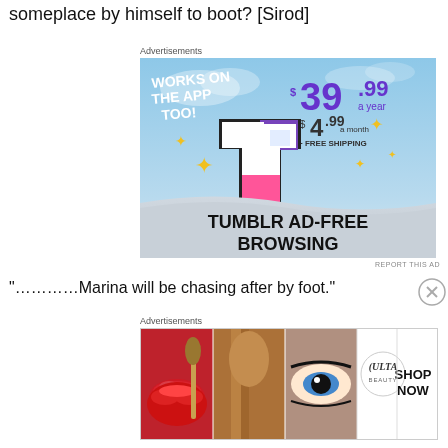someplace by himself to boot?  [Sirod]
Advertisements
[Figure (screenshot): Tumblr Ad-Free Browsing advertisement. Shows Tumblr logo with text: WORKS ON THE APP TOO!, $39.99 a year or $4.99 a month + FREE SHIPPING. TUMBLR AD-FREE BROWSING.]
REPORT THIS AD
“……………Marina will be chasing after by foot.”
Advertisements
[Figure (screenshot): Ulta Beauty advertisement banner showing makeup images including lips, brushes, eyes, Ulta logo, and SHOP NOW text.]